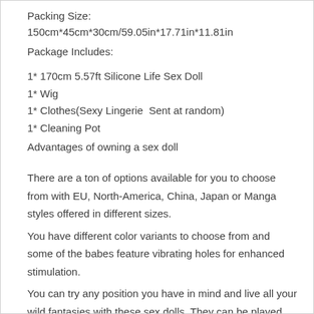Packing Size: 150cm*45cm*30cm/59.05in*17.71in*11.81in
Package Includes:
1* 170cm 5.57ft Silicone Life Sex Doll
1* Wig
1* Clothes(Sexy Lingerie  Sent at random)
1* Cleaning Pot
Advantages of owning a sex doll
There are a ton of options available for you to choose from with EU, North-America, China, Japan or Manga styles offered in different sizes.
You have different color variants to choose from and some of the babes feature vibrating holes for enhanced stimulation.
You can try any position you have in mind and live all your wild fantasies with these sex dolls. They can be played